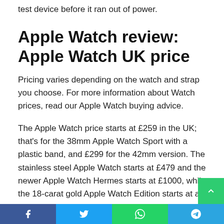test device before it ran out of power.
Apple Watch review: Apple Watch UK price
Pricing varies depending on the watch and strap you choose. For more information about Watch prices, read our Apple Watch buying advice.
The Apple Watch price starts at £259 in the UK; that's for the 38mm Apple Watch Sport with a plastic band, and £299 for the 42mm version. The stainless steel Apple Watch starts at £479 and the newer Apple Watch Hermes starts at £1000, while the 18-carat gold Apple Watch Edition starts at an eye-watering £8,000.
Facebook | Twitter | WhatsApp | Telegram